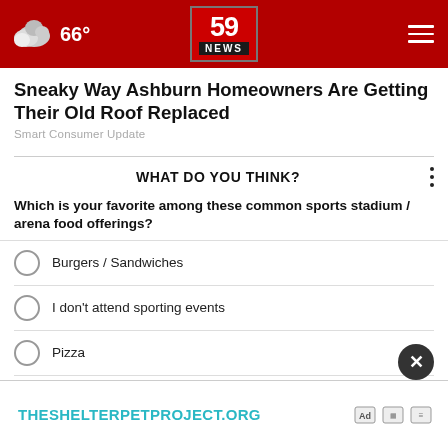66° | 59 NEWS
Sneaky Way Ashburn Homeowners Are Getting Their Old Roof Replaced
Smart Consumer Update
WHAT DO YOU THINK?
Which is your favorite among these common sports stadium / arena food offerings?
Burgers / Sandwiches
I don't attend sporting events
Pizza
Ice cream / Popsicles/ Etc.
Other / Doesn't apply
[Figure (logo): THESHELTERPETPROJECT.ORG advertisement banner]